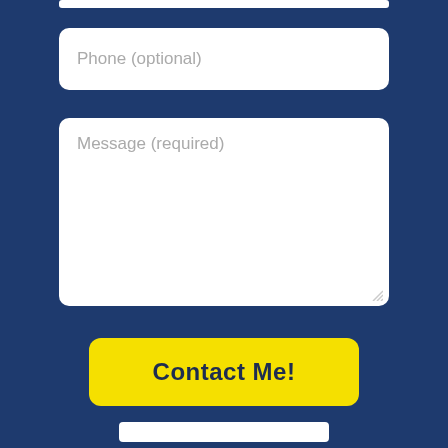[Figure (screenshot): A contact form on a dark navy blue background. Shows a phone (optional) input field, a large message (required) textarea, a yellow 'Contact Me!' button, and a small white bar at the bottom.]
Phone (optional)
Message (required)
Contact Me!